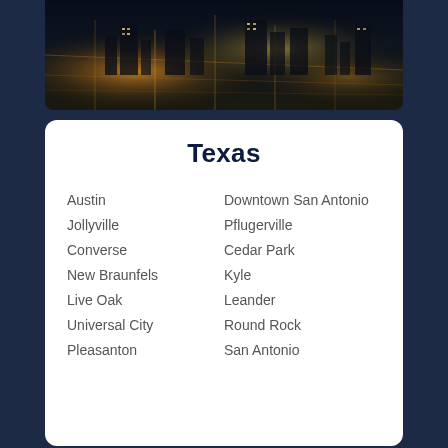[Figure (photo): Aerial night view of a Texas city with illuminated streets and buildings]
Texas
Austin
Jollyville
Converse
New Braunfels
Live Oak
Universal City
Pleasanton
Lockhart
Downtown San Antonio
Pflugerville
Cedar Park
Kyle
Leander
Round Rock
San Antonio
Houston